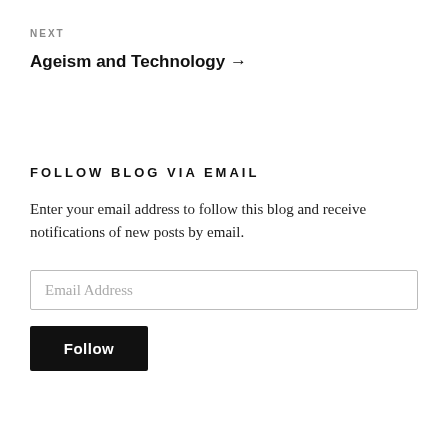NEXT
Ageism and Technology →
FOLLOW BLOG VIA EMAIL
Enter your email address to follow this blog and receive notifications of new posts by email.
Email Address
Follow